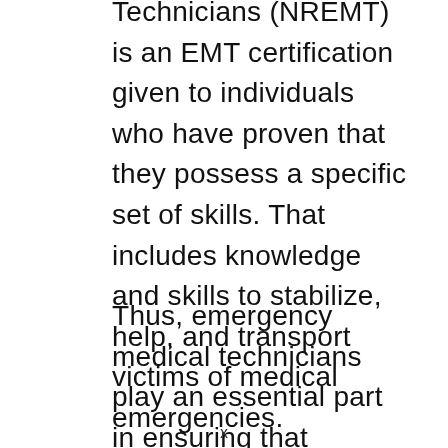Technicians (NREMT) is an EMT certification given to individuals who have proven that they possess a specific set of skills. That includes knowledge and skills to stabilize, help, and transport victims of medical emergencies.
Thus, emergency medical technicians play an essential part in ensuring that patients survive during the transition from the scene of the medical emergency to an emergency room.
x